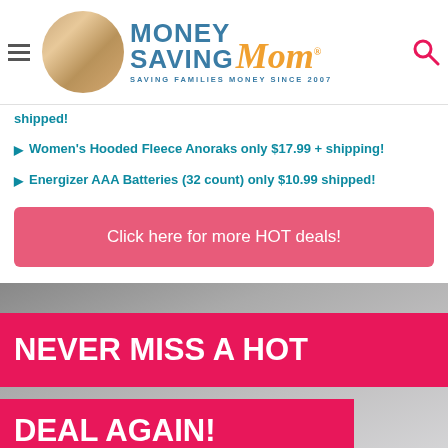[Figure (logo): Money Saving Mom logo with circular photo of woman, blue MONEY SAVING text, orange italic Mom script, tagline SAVING FAMILIES MONEY SINCE 2007]
shipped!
Women's Hooded Fleece Anoraks only $17.99 + shipping!
Energizer AAA Batteries (32 count) only $10.99 shipped!
Click here for more HOT deals!
[Figure (infographic): Pink banner over dark background reading NEVER MISS A HOT DEAL AGAIN!]
SIGN UP FOR MY